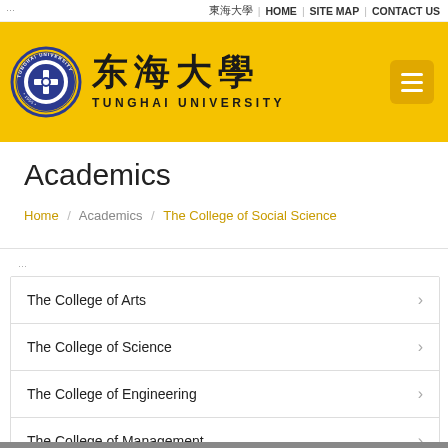⋯  東海大學  |  HOME  |  SITE MAP  |  CONTACT US
[Figure (logo): Tunghai University header with circular seal logo, Chinese characters 東海大學, and text TUNGHAI UNIVERSITY on yellow background]
Academics
Home / Academics / The College of Social Science
The College of Arts
The College of Science
The College of Engineering
The College of Management